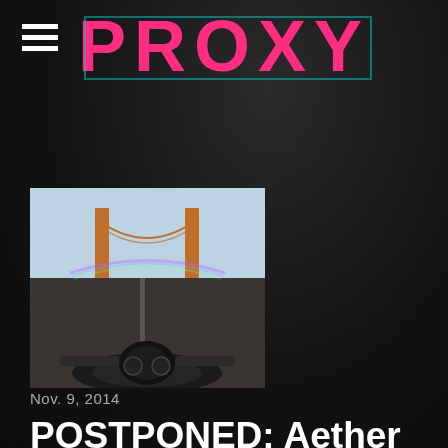PROXY
[Figure (photo): Thumbnail photo showing a first-person view from a motorcycle on the Golden Gate Bridge, with the bridge towers and bay visible ahead, taken with a wide-angle camera.]
Nov. 9, 2014
POSTPONED: Aether takes SF on an Urban Adventure